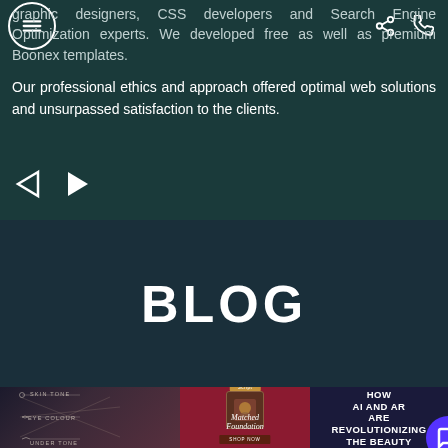Menu, Share, Phone icons
graphic designers, CSS developers and Search Engine Optimization experts. We developed free as well as premium Boonex templates.
Our professional ethics and approach offered optimal web solutions and unsurpassed satisfaction to the clients.
[Figure (illustration): Navigation arrows: back (triangle outline) and forward (filled triangle)]
BLOG
[Figure (photo): Blog post thumbnail showing a split face with skin tone, eye colour, under tone labels and a matched foundation product, plus text 'HOW AI AND AR ARE REVOLUTIONIZING THE BEAUTY']